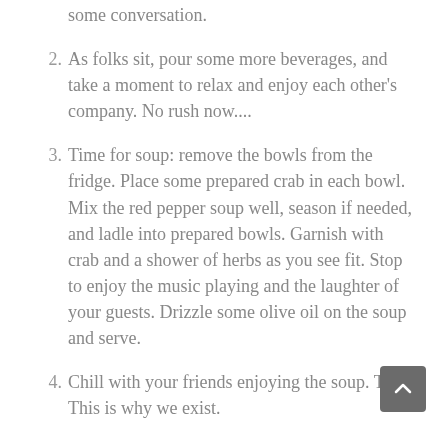some conversation.
2. As folks sit, pour some more beverages, and take a moment to relax and enjoy each other's company. No rush now....
3. Time for soup: remove the bowls from the fridge. Place some prepared crab in each bowl. Mix the red pepper soup well, season if needed, and ladle into prepared bowls. Garnish with crab and a shower of herbs as you see fit. Stop to enjoy the music playing and the laughter of your guests. Drizzle some olive oil on the soup and serve.
4. Chill with your friends enjoying the soup. Talk. This is why we exist.